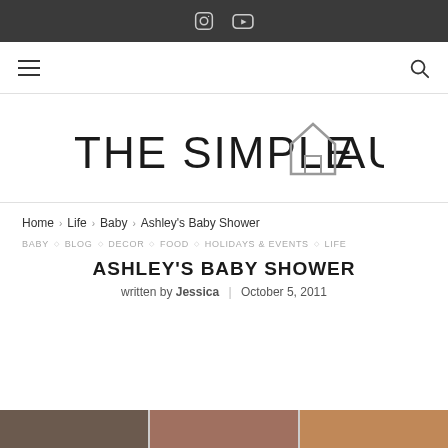Social icons: Instagram, YouTube
Navigation bar with hamburger menu and search icon
[Figure (logo): THE SIMPLE HAUS logo with house icon replacing the H in HAUS]
Home > Life > Baby > Ashley's Baby Shower
BABY ◇ BLOG ◇ DECOR ◇ FOOD ◇ HOLIDAYS & EVENTS ◇ LIFE
ASHLEY'S BABY SHOWER
written by Jessica | October 5, 2011
[Figure (photo): Partial photo strip at the bottom of the page showing baby shower images]